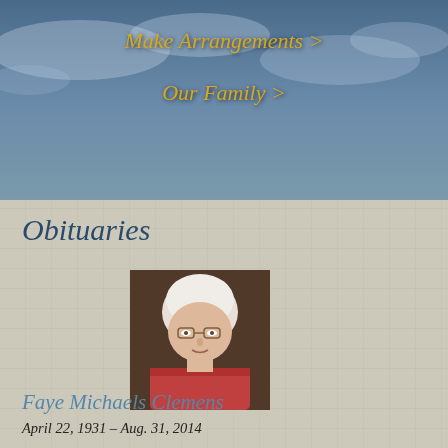[Figure (photo): Banner image with dark sky, clouds, and tree silhouette background]
Make Arrangements >
Our Family >
Obituaries
[Figure (photo): Portrait photograph of Faye Michaels Clemens, an elderly woman with white/gray curly hair wearing a red top]
Faye Michaels Clemens
April 22, 1931 – Aug. 31, 2014